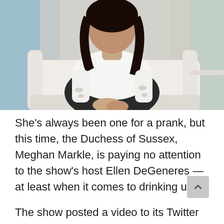[Figure (photo): Woman with long dark hair wearing a white long-sleeved top with cutout details at the wrists, seated in a white chair on what appears to be a talk show set. Background includes blue and floral elements.]
She's always been one for a prank, but this time, the Duchess of Sussex, Meghan Markle, is paying no attention to the show's host Ellen DeGeneres — at least when it comes to drinking up.
The show posted a video to its Twitter